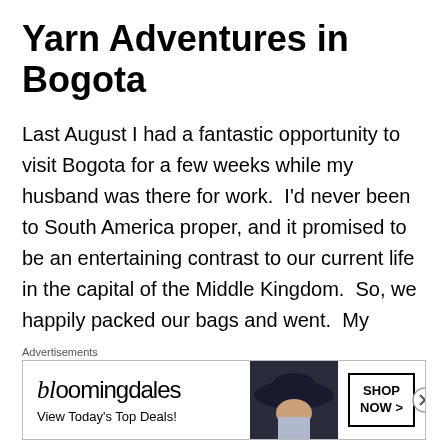Yarn Adventures in Bogota
Last August I had a fantastic opportunity to visit Bogota for a few weeks while my husband was there for work.  I'd never been to South America proper, and it promised to be an entertaining contrast to our current life in the capital of the Middle Kingdom.  So, we happily packed our bags and went.  My husband had to, y'know, work all day, which left me plenty of time to explore the city.
For the record, Bogota is beautiful.  The city is at the very top of the South American continent, and at a very high altitude, which gives it this magical weather of 65-75 degrees (Farenheit) year round.  The only drawback was
Advertisements
[Figure (other): Bloomingdale's advertisement banner with logo, 'View Today's Top Deals!' tagline, woman wearing a large brimmed hat, and 'SHOP NOW >' button]